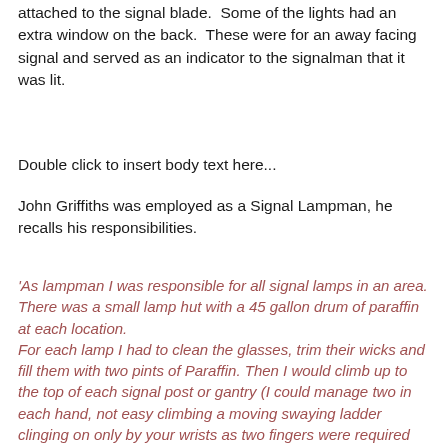attached to the signal blade.  Some of the lights had an extra window on the back.  These were for an away facing signal and served as an indicator to the signalman that it was lit.
Double click to insert body text here...
John Griffiths was employed as a Signal Lampman, he recalls his responsibilities.
'As lampman I was responsible for all signal lamps in an area. There was a small lamp hut with a 45 gallon drum of paraffin at each location.
For each lamp I had to clean the glasses, trim their wicks and fill them with two pints of Paraffin. Then I would climb up to the top of each signal post or gantry (I could manage two in each hand, not easy climbing a moving swaying ladder clinging on only by your wrists as two fingers were required for each lamp.) When you were at the top